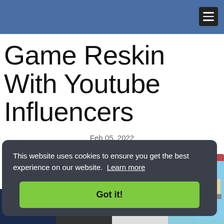Game Reskin With Youtube Influencers
Feb 05, 2022
8 minute read
This website uses cookies to ensure you get the best experience on our website. Learn more
Got it!
[Figure (screenshot): Row of game thumbnail screenshots at the bottom of the page]